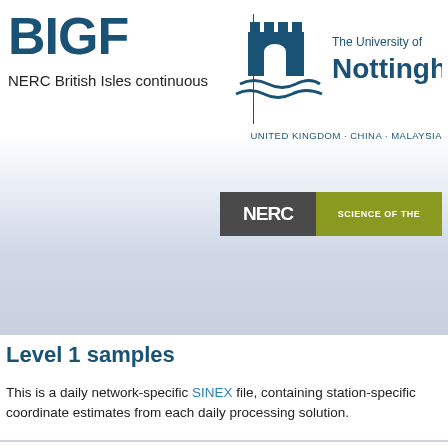[Figure (logo): BIGF logo with text 'BIGF' in large bold dark blue letters and below it 'NERC British Isles continuous' in black text]
[Figure (logo): University of Nottingham logo with castle icon, vertical blue divider, and text 'The University of Nottingham' in dark blue, with tagline 'UNITED KINGDOM · CHINA · MALAYSIA']
[Figure (logo): NERC logo banner with dark gray left portion containing white text 'NERC' and olive/yellow-green right portion with white text 'SCIENCE OF THE']
Level 1 samples
This is a daily network-specific SINEX file, containing station-specific coordinate estimates from each daily processing solution.